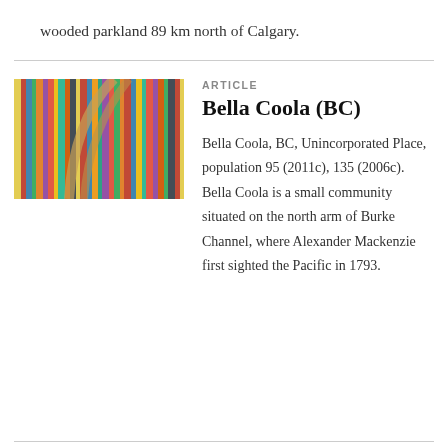wooded parkland 89 km north of Calgary.
[Figure (photo): Close-up photo of colorful spines of books or records lined up on a shelf, with warm tones and blurred background]
ARTICLE
Bella Coola (BC)
Bella Coola, BC, Unincorporated Place, population 95 (2011c), 135 (2006c). Bella Coola is a small community situated on the north arm of Burke Channel, where Alexander Mackenzie first sighted the Pacific in 1793.